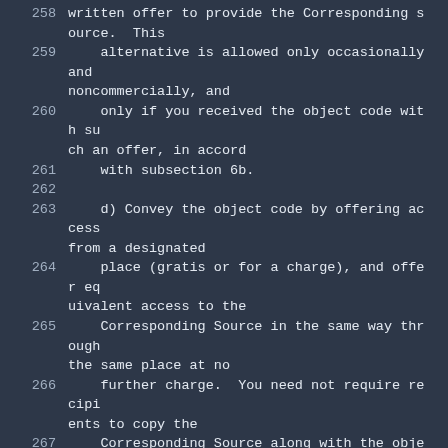258     written offer to provide the Corresponding Source.  This
259         alternative is allowed only occasionally and noncommercially, and
260         only if you received the object code with such an offer, in accord
261         with subsection 6b.
262
263         d) Convey the object code by offering access from a designated
264         place (gratis or for a charge), and offer equivalent access to the
265         Corresponding Source in the same way through the same place at no
266         further charge.  You need not require recipients to copy the
267         Corresponding Source along with the object code.  If the place to
268         copy the object code is a network server, the Corresponding Source
269         may be on a different server (operated by you or a third party)
270         that supports equivalent copying facilities,